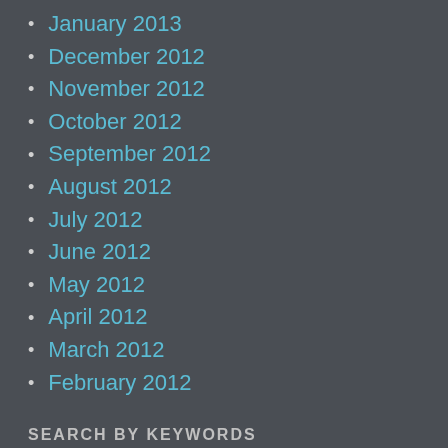January 2013
December 2012
November 2012
October 2012
September 2012
August 2012
July 2012
June 2012
May 2012
April 2012
March 2012
February 2012
SEARCH BY KEYWORDS